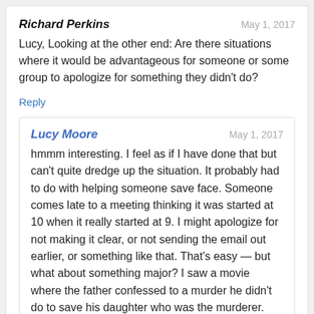Richard Perkins — May 1, 2017
Lucy, Looking at the other end: Are there situations where it would be advantageous for someone or some group to apologize for something they didn't do?
Reply
Lucy Moore — May 1, 2017
hmmm interesting. I feel as if I have done that but can't quite dredge up the situation. It probably had to do with helping someone save face. Someone comes late to a meeting thinking it was started at 10 when it really started at 9. I might apologize for not making it clear, or not sending the email out earlier, or something like that. That's easy — but what about something major? I saw a movie where the father confessed to a murder he didn't do to save his daughter who was the murderer. Also, I work with agency staff who have to take the blame for things that their bosses did because that is what they are